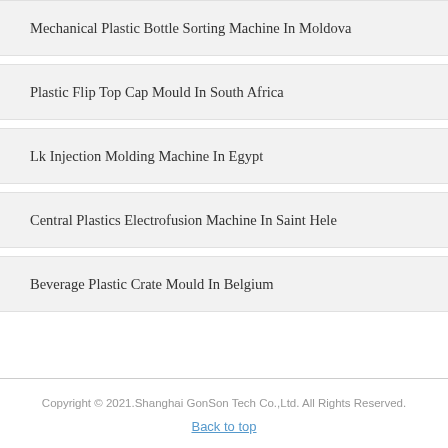Mechanical Plastic Bottle Sorting Machine In Moldova
Plastic Flip Top Cap Mould In South Africa
Lk Injection Molding Machine In Egypt
Central Plastics Electrofusion Machine In Saint Hele
Beverage Plastic Crate Mould In Belgium
Copyright © 2021.Shanghai GonSon Tech Co.,Ltd. All Rights Reserved.
Back to top